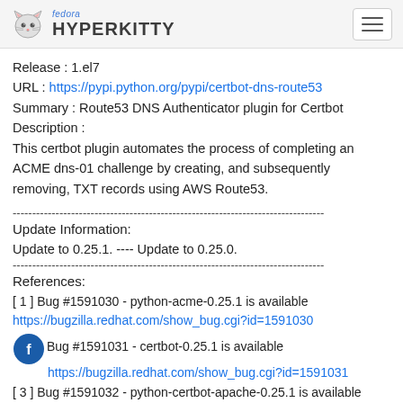fedora HYPERKITTY
Release : 1.el7
URL : https://pypi.python.org/pypi/certbot-dns-route53
Summary : Route53 DNS Authenticator plugin for Certbot
Description :
This certbot plugin automates the process of completing an ACME dns-01 challenge by creating, and subsequently removing, TXT records using AWS Route53.
--------------------------------------------------------------------------------
Update Information:
Update to 0.25.1. ---- Update to 0.25.0.
--------------------------------------------------------------------------------
References:
[ 1 ] Bug #1591030 - python-acme-0.25.1 is available
https://bugzilla.redhat.com/show_bug.cgi?id=1591030
[ 2 ] Bug #1591031 - certbot-0.25.1 is available
https://bugzilla.redhat.com/show_bug.cgi?id=1591031
[ 3 ] Bug #1591032 - python-certbot-apache-0.25.1 is available